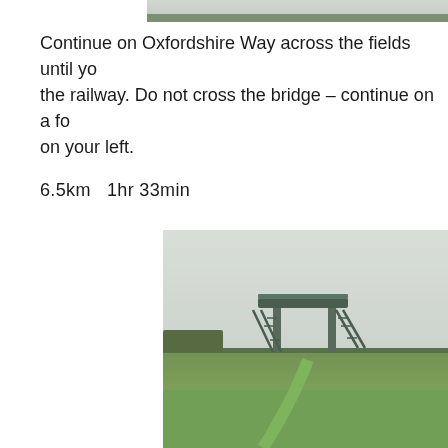[Figure (photo): Top portion of a photograph showing a rural landscape, partially cropped at top of page]
Continue on Oxfordshire Way across the fields until you reach the railway. Do not cross the bridge – continue on a footpath on your left.
6.5km  1hr 33min
[Figure (photo): Photograph of a green field in misty/overcast conditions with a metal footbridge or railway crossing structure visible in the middle distance, with stairs on both sides. Green grass in foreground.]